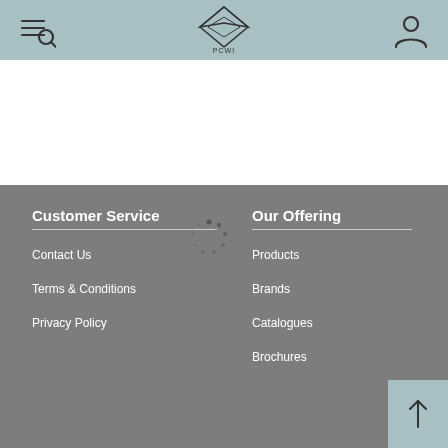PCWI website header with menu/search icon, PCWI logo, and user icon
Customer Service
Our Offering
Contact Us
Products
Terms & Conditions
Brands
Privacy Policy
Catalogues
Brochures
[Figure (screenshot): Loading spinner icon in the footer area]